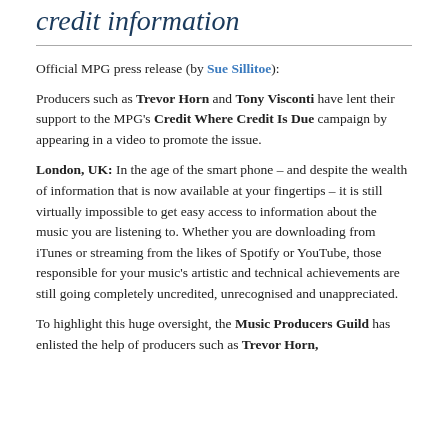credit information
Official MPG press release (by Sue Sillitoe):
Producers such as Trevor Horn and Tony Visconti have lent their support to the MPG's Credit Where Credit Is Due campaign by appearing in a video to promote the issue.
London, UK: In the age of the smart phone – and despite the wealth of information that is now available at your fingertips – it is still virtually impossible to get easy access to information about the music you are listening to. Whether you are downloading from iTunes or streaming from the likes of Spotify or YouTube, those responsible for your music's artistic and technical achievements are still going completely uncredited, unrecognised and unappreciated.
To highlight this huge oversight, the Music Producers Guild has enlisted the help of producers such as Trevor Horn,